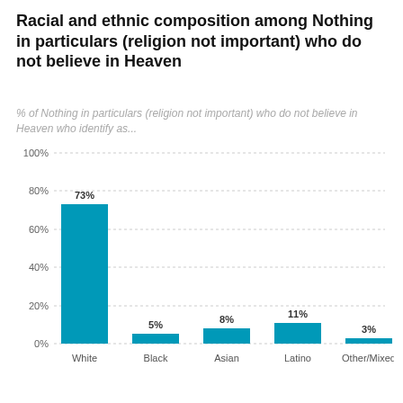Racial and ethnic composition among Nothing in particulars (religion not important) who do not believe in Heaven
% of Nothing in particulars (religion not important) who do not believe in Heaven who identify as...
[Figure (bar-chart): Racial and ethnic composition among Nothing in particulars (religion not important) who do not believe in Heaven]